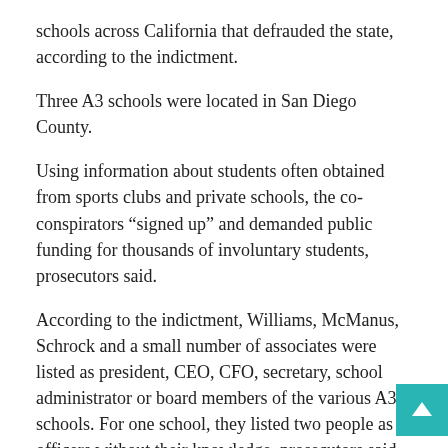schools across California that defrauded the state, according to the indictment.
Three A3 schools were located in San Diego County.
Using information about students often obtained from sports clubs and private schools, the co-conspirators “signed up” and demanded public funding for thousands of involuntary students, prosecutors said.
According to the indictment, Williams, McManus, Schrock and a small number of associates were listed as president, CEO, CFO, secretary, school administrator or board members of the various A3 schools. For one school, they listed two people as officers without their knowledge, prosecutors said.
The defendants used personal addresses or the Newport Beach address of an accounting firm owned by Williams on documents to open bank accounts and submit annual returns, according to the indictment.